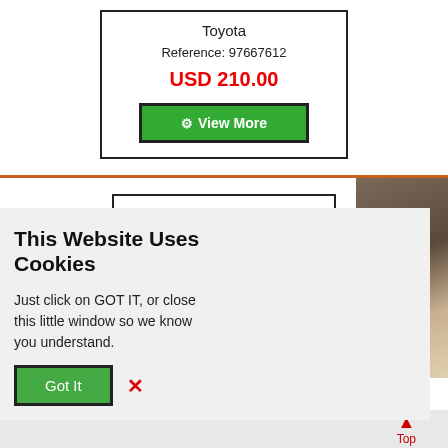Toyota
Reference: 97667612
USD 210.00
View More
This Website Uses Cookies
Just click on GOT IT, or close this little window so we know you understand.
Got It
[Figure (photo): Partial view of a vehicle with a sign reading INGLE and partial text below, outdoor setting with trees in background]
Top